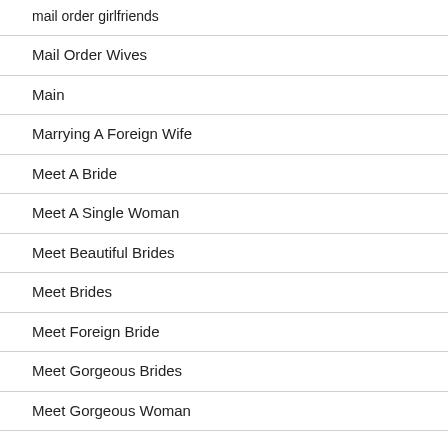mail order girlfriends
Mail Order Wives
Main
Marrying A Foreign Wife
Meet A Bride
Meet A Single Woman
Meet Beautiful Brides
Meet Brides
Meet Foreign Bride
Meet Gorgeous Brides
Meet Gorgeous Woman